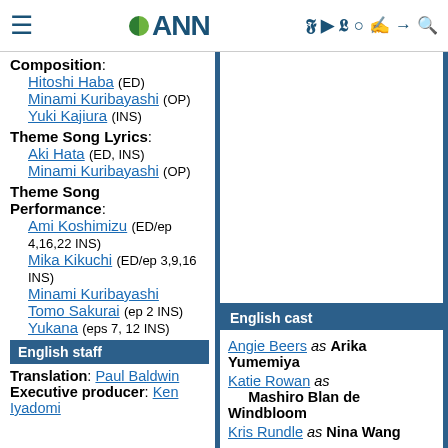ANN
Composition: Hitoshi Haba (ED) Minami Kuribayashi (OP) Yuki Kajiura (INS)
Theme Song Lyrics: Aki Hata (ED, INS) Minami Kuribayashi (OP)
Theme Song Performance: Ami Koshimizu (ED/ep 4,16,22 INS) Mika Kikuchi (ED/ep 3,9,16 INS) Minami Kuribayashi Tomo Sakurai (ep 2 INS) Yukana (eps 7, 12 INS)
English staff
Translation: Paul Baldwin
Executive producer: Ken Iyadomi
English cast
Angie Beers as Arika Yumemiya
Katie Rowan as Mashiro Blan de Windbloom
Kris Rundle as Nina Wang